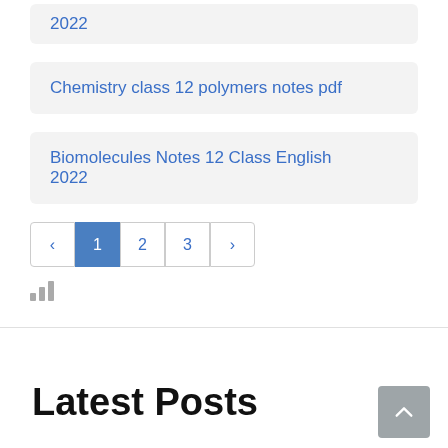2022
Chemistry class 12 polymers notes pdf
Biomolecules Notes 12 Class English 2022
« 1 2 3 »
[Figure (other): Bar chart icon (small decorative icon)]
Latest Posts